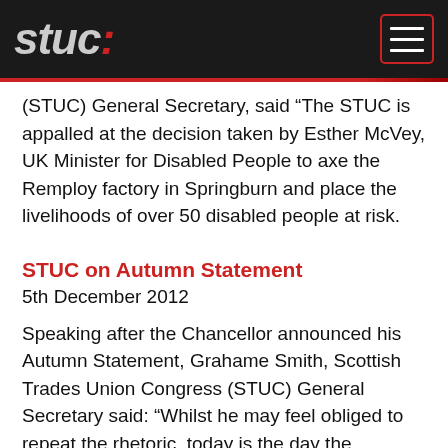stuc
(STUC) General Secretary, said “The STUC is appalled at the decision taken by Esther McVey, UK Minister for Disabled People to axe the Remploy factory in Springburn and place the livelihoods of over 50 disabled people at risk.
STUC on Autumn Statement
5th December 2012
Speaking after the Chancellor announced his Autumn Statement, Grahame Smith, Scottish Trades Union Congress (STUC) General Secretary said: “Whilst he may feel obliged to repeat the rhetoric, today is the day the Chancellor abandoned any pretence that